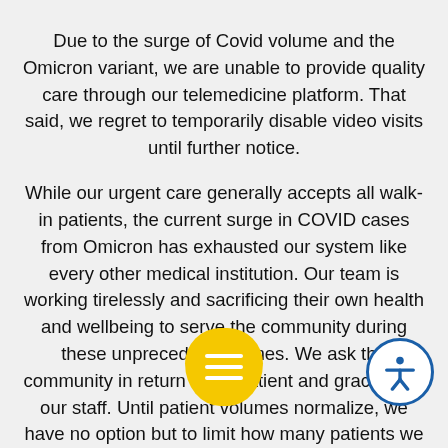Due to the surge of Covid volume and the Omicron variant, we are unable to provide quality care through our telemedicine platform. That said, we regret to temporarily disable video visits until further notice.
While our urgent care generally accepts all walk-in patients, the current surge in COVID cases from Omicron has exhausted our system like every other medical institution. Our team is working tirelessly and sacrificing their own health and wellbeing to serve the community during these unprecedented times. We ask the community in return to be patient and gracious to our staff. Until patient volumes normalize, we have no option but to limit how many patients we s[...] ncerely apologize [...] short comings and ass[...] we are doing our best to